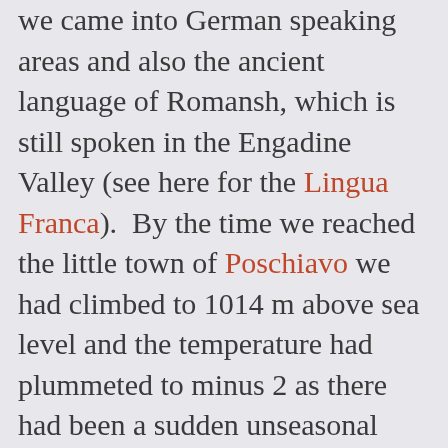we came into German speaking areas and also the ancient language of Romansh, which is still spoken in the Engadine Valley (see here for the Lingua Franca).  By the time we reached the little town of Poschiavo we had climbed to 1014 m above sea level and the temperature had plummeted to minus 2 as there had been a sudden unseasonal cold snap! Here we were dropped off by our coach driver, who headed off on the mountain road to await us at the other side, whilst we waited for the train to take us on the next part of our journey.